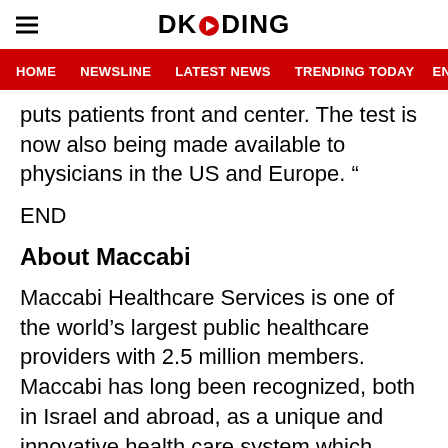DKODING
HOME  NEWSLINE  LATEST NEWS  TRENDING TODAY  ENT
puts patients front and center. The test is now also being made available to physicians in the US and Europe. ”
END
About Maccabi
Maccabi Healthcare Services is one of the world’s largest public healthcare providers with 2.5 million members. Maccabi has long been recognized, both in Israel and abroad, as a unique and innovative health care system which leads the way in cutting edge